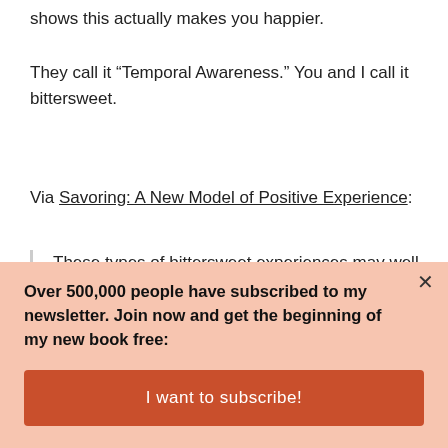shows this actually makes you happier.
They call it “Temporal Awareness.” You and I call it bittersweet.
Via Savoring: A New Model of Positive Experience:
These types of bittersweet experiences may well be especially conducive to savoring, as people
Over 500,000 people have subscribed to my newsletter. Join now and get the beginning of my new book free:
I want to subscribe!